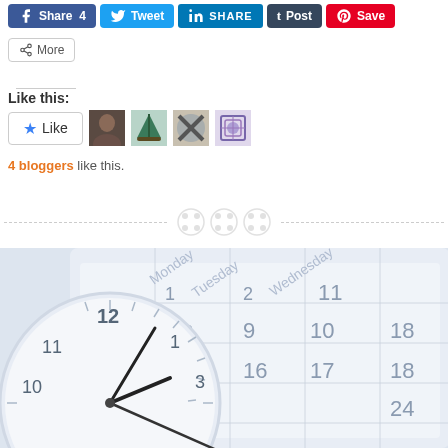[Figure (screenshot): Social share buttons: Facebook Share 4, Twitter Tweet, LinkedIn SHARE, Tumblr Post, Pinterest Save]
[Figure (screenshot): More share button]
Like this:
[Figure (screenshot): Like button with star icon and 4 blogger avatar thumbnails]
4 bloggers like this.
[Figure (photo): Clock and calendar photo showing an analog wall clock overlaid on a calendar grid with days of the week and date numbers visible]